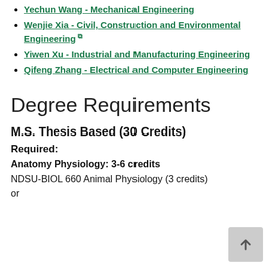Yechun Wang - Mechanical Engineering
Wenjie Xia - Civil, Construction and Environmental Engineering [external link]
Yiwen Xu - Industrial and Manufacturing Engineering
Qifeng Zhang - Electrical and Computer Engineering
Degree Requirements
M.S. Thesis Based (30 Credits)
Required:
Anatomy Physiology: 3-6 credits
NDSU-BIOL 660 Animal Physiology (3 credits) or